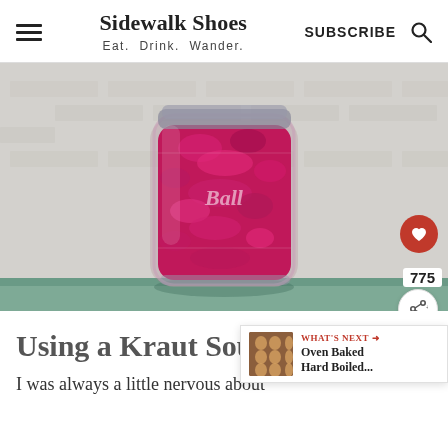Sidewalk Shoes — Eat. Drink. Wander. | SUBSCRIBE
[Figure (photo): A Ball mason jar filled with bright magenta/pink fermented red cabbage sauerkraut, sitting on a teal/green surface against a white brick wall background.]
Using a Kraut Source
I was always a little nervous about